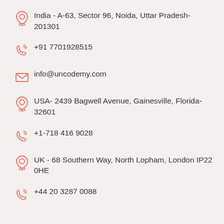India - A-63, Sector 96, Noida, Uttar Pradesh-201301
+91 7701928515
info@uncodemy.com
USA- 2439 Bagwell Avenue, Gainesville, Florida-32601
+1-718 416 9028
UK - 68 Southern Way, North Lopham, London IP22 0HE
+44 20 3287 0088